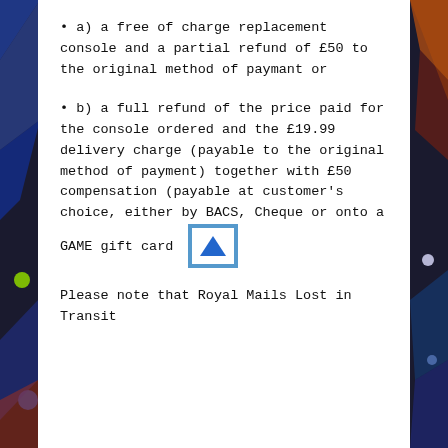a) a free of charge replacement console and a partial refund of £50 to the original method of paymant or
b) a full refund of the price paid for the console ordered and the £19.99 delivery charge (payable to the original method of payment) together with £50 compensation (payable at customer's choice, either by BACS, Cheque or onto a GAME gift card
Please note that Royal Mails Lost in Transit